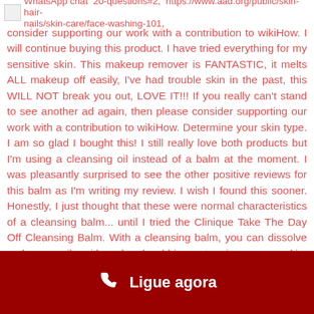WhatsApp chat  20-questions#2,  https://www.aad.org/public/skin-hair-nails/skin-care/face-washing-101
consider supporting our work with a contribution to wikiHow. I will continue buying this product. I have tried everything for my sensitive skin. This makeup remover is FANTASTIC, it melts ALL makeup off easily, I've had trouble skin in the past, this WILL NOT break you out, LOVE IT!!! If you really can't stand to see another ad again, then please consider supporting our work with a contribution to wikiHow. Determine your skin type. I am so glad I bought this! I still really love both products but I'm using a cleansing oil instead of a balm at the moment. I was pleasantly surprised to see the other positive reviews for this balm as I'm writing my review. I wish I found this sooner. Honestly, I just thought that these were normal characteristics of a cleansing balm... until I tried the Clinique Take The Day Off Cleansing Balm. With a cleansing balm, you can dissolve makeup easily, with no harsh rubbing or tugging on your skin, leaving it glowing and fresh! This will always be a part of my skincare
Ligue agora